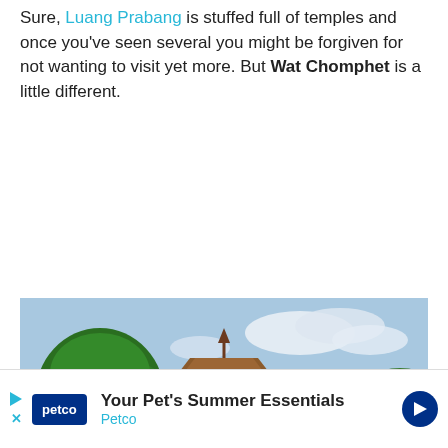Sure, Luang Prabang is stuffed full of temples and once you've seen several you might be forgiven for not wanting to visit yet more. But Wat Chomphet is a little different.
[Figure (photo): Photograph of Wat Chomphet temple in Luang Prabang, Laos. A white-walled temple with a brown tiled roof and white columns at the entrance, surrounded by lush green trees and vegetation, with a dirt path leading to it and low stone walls on either side.]
Wat Chomphet, Luang Prabang, Laos
Just a short hop by boat across the